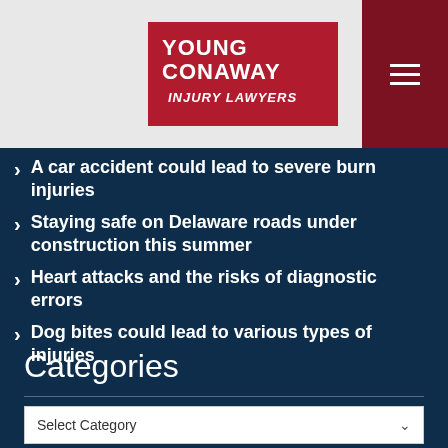[Figure (logo): Young Conaway Injury Lawyers logo — white text on dark red/crimson background square]
A car accident could lead to severe burn injuries
Staying safe on Delaware roads under construction this summer
Heart attacks and the risks of diagnostic errors
Dog bites could lead to various types of injuries
Categories
Select Category